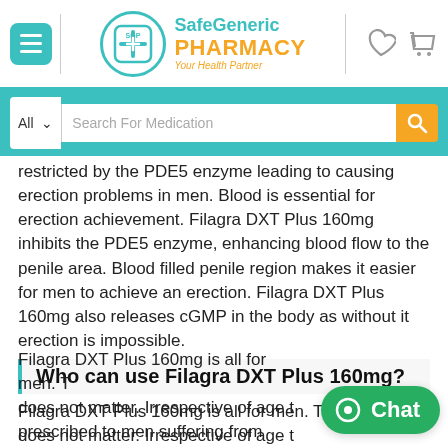SafeGeneric PHARMACY Your Health Partner
Search For Medication
restricted by the PDE5 enzyme leading to causing erection problems in men. Blood is essential for erection achievement. Filagra DXT Plus 160mg inhibits the PDE5 enzyme, enhancing blood flow to the penile area. Blood filled penile region makes it easier for men to achieve an erection. Filagra DXT Plus 160mg also releases cGMP in the body as without it erection is impossible.
Who can use Filagra DXT Plus 160mg?
Filagra DXT Plus 160mg is all for men. The age does not matter. Irrespective of age this pill is prescribed to men suffering from erectile